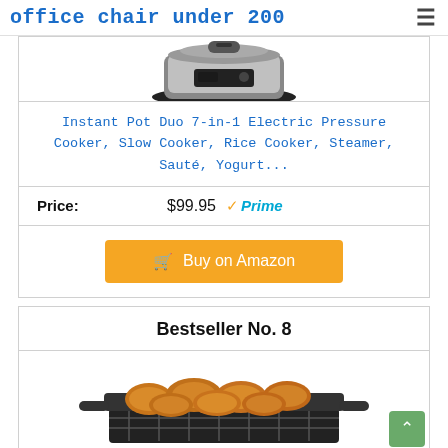office chair under 200
[Figure (photo): Partial view of an Instant Pot Duo electric pressure cooker, showing the top portion of the device in silver and black.]
Instant Pot Duo 7-in-1 Electric Pressure Cooker, Slow Cooker, Rice Cooker, Steamer, Sauté, Yogurt...
Price: $99.95 ✓Prime
Buy on Amazon
Bestseller No. 8
[Figure (photo): Air fryer basket with fried chicken nuggets/wings inside, on a white background.]